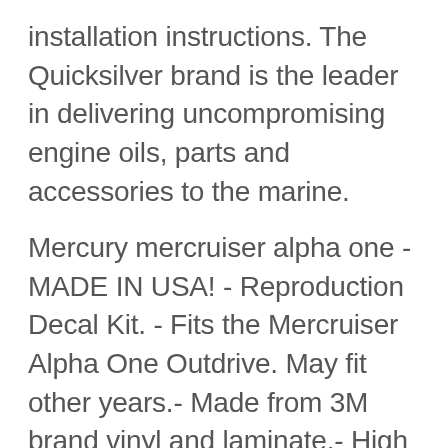installation instructions. The Quicksilver brand is the leader in delivering uncompromising engine oils, parts and accessories to the marine.
Mercury mercruiser alpha one - MADE IN USA! - Reproduction Decal Kit. - Fits the Mercruiser Alpha One Outdrive. May fit other years.- Made from 3M brand vinyl and laminate.- High quality long lasting marine quality decals.- 30 Day Money Back Guarantee!- Same day shipping on most orders! We specialize